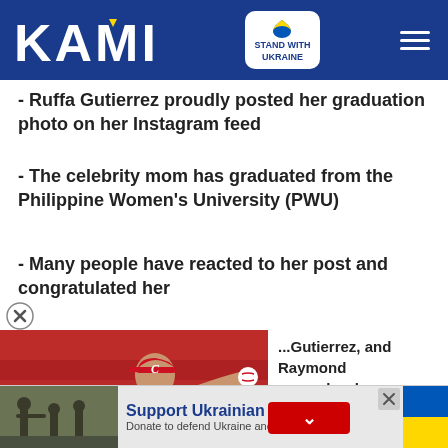KAMI — Stand With Ukraine
- Ruffa Gutierrez proudly posted her graduation photo on her Instagram feed
- The celebrity mom has graduated from the Philippine Women's University (PWU)
- Many people have reacted to her post and congratulated her
...Gutierrez, and Raymond ...people who congratulated
ng mga balitang para sa'yo ➡ r you" block at mag-
[Figure (photo): Baseball pitcher wearing Cincinnati Reds uniform number 53, mid-throw motion, with red stadium seating in background]
Support Ukrainian Army — Donate to defend Ukraine and democracy